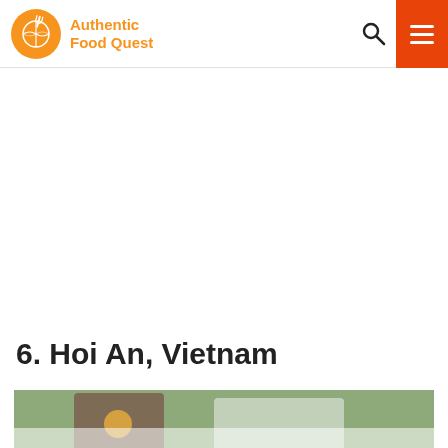[Figure (logo): Authentic Food Quest logo: orange circle with globe and fork icon, next to orange bold text reading 'Authentic Food Quest']
Authentic Food Quest — navigation bar with search icon and orange hamburger menu button
6. Hoi An, Vietnam
[Figure (photo): Bottom portion of a photograph showing people outdoors in Hoi An, Vietnam, with green foliage in the background]